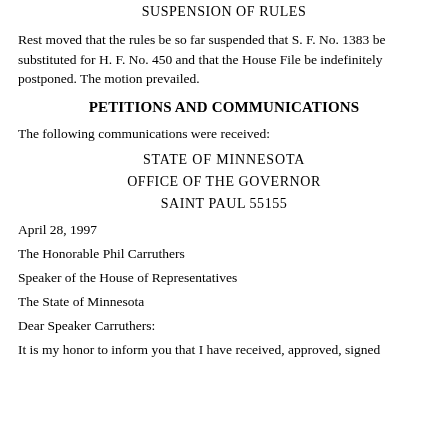SUSPENSION OF RULES
Rest moved that the rules be so far suspended that S. F. No. 1383 be substituted for H. F. No. 450 and that the House File be indefinitely postponed. The motion prevailed.
PETITIONS AND COMMUNICATIONS
The following communications were received:
STATE OF MINNESOTA
OFFICE OF THE GOVERNOR
SAINT PAUL 55155
April 28, 1997
The Honorable Phil Carruthers
Speaker of the House of Representatives
The State of Minnesota
Dear Speaker Carruthers:
It is my honor to inform you that I have received, approved, signed